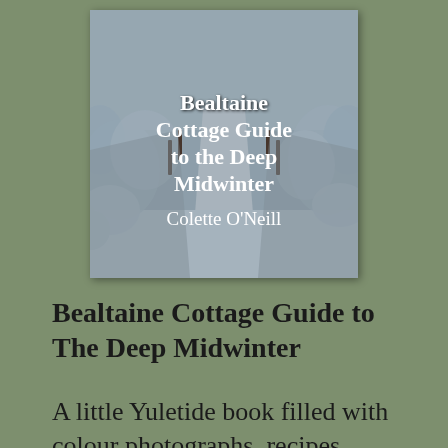[Figure (photo): Book cover of 'Bealtaine Cottage Guide to the Deep Midwinter' by Colette O'Neill. Shows a snow-covered winter landscape with a path and snow-laden trees. White serif text overlaid on the image.]
Bealtaine Cottage Guide to The Deep Midwinter
A little Yuletide book filled with colour photographs, recipes